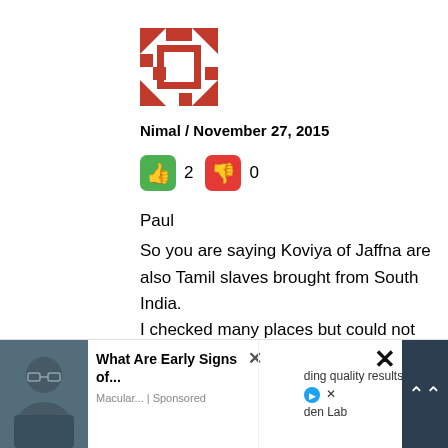[Figure (illustration): Red and white geometric mosaic avatar icon with triangular pattern]
Nimal / November 27, 2015
[Figure (infographic): Thumbs up button (green) with count 2, thumbs down button (red) with count 0]
Paul
So you are saying Koviya of Jaffna are also Tamil slaves brought from South India.
I checked many places but could not find a caste in South India called Koviya or Koviya. Can you give us some evidence to prove your
[Figure (screenshot): Advertisement overlay: 'What Are Early Signs of...' with photo of man, Macular... Sponsored. Right side shows partial text 'ding quality results' and 'den Lab'. Close button and dark scroll arrow button visible.]